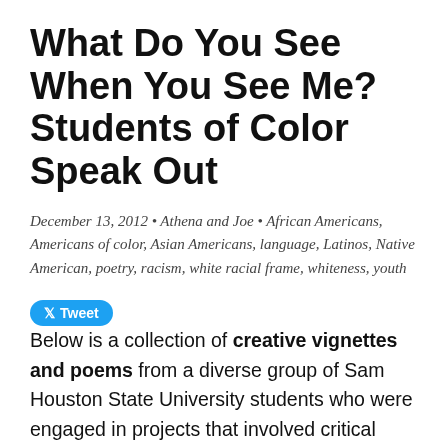What Do You See When You See Me? Students of Color Speak Out
December 13, 2012 • Athena and Joe • African Americans, Americans of color, Asian Americans, language, Latinos, Native American, poetry, racism, white racial frame, whiteness, youth
Below is a collection of creative vignettes and poems from a diverse group of Sam Houston State University students who were engaged in projects that involved critical examinations of white racial framing and counter-framing. Their work contests and challenges stereotypes generated by the white racist and gendered framing often deeply engrained in both the minds of dominate group members and subordinate group members who have internalized features of the framing toward their own groups.